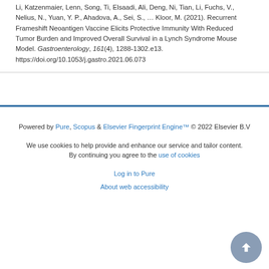Li, Katzenmaier, Lenn, Song, Ti, Elsaadi, Ali, Deng, Ni, Tian, Li, Fuchs, V., Nelius, N., Yuan, Y. P., Ahadova, A., Sei, S., ... Kloor, M. (2021). Recurrent Frameshift Neoantigen Vaccine Elicits Protective Immunity With Reduced Tumor Burden and Improved Overall Survival in a Lynch Syndrome Mouse Model. Gastroenterology, 161(4), 1288-1302.e13. https://doi.org/10.1053/j.gastro.2021.06.073
Powered by Pure, Scopus & Elsevier Fingerprint Engine™ © 2022 Elsevier B.V

We use cookies to help provide and enhance our service and tailor content. By continuing you agree to the use of cookies

Log in to Pure

About web accessibility